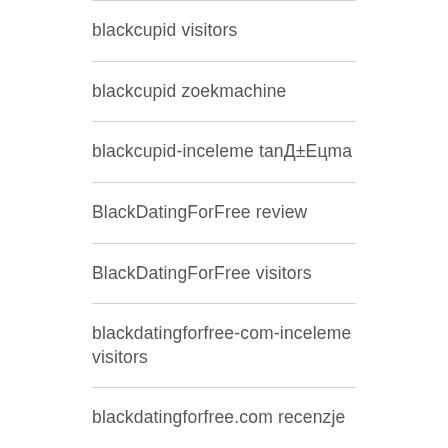blackcupid visitors
blackcupid zoekmachine
blackcupid-inceleme tanД±Eцma
BlackDatingForFree review
BlackDatingForFree visitors
blackdatingforfree-com-inceleme visitors
blackdatingforfree.com recenzje
blackdatingforfree...